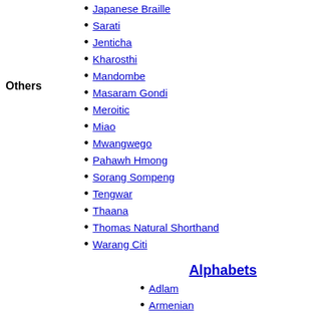Others
Japanese Braille
Sarati
Jenticha
Kharosthi
Mandombe
Masaram Gondi
Meroitic
Miao
Mwangwego
Pahawh Hmong
Sorang Sompeng
Tengwar
Thaana
Thomas Natural Shorthand
Warang Citi
Alphabets
Adlam
Armenian
Avestan
Pazend
Avoiuli
Bassa Vah
Borama
Carian